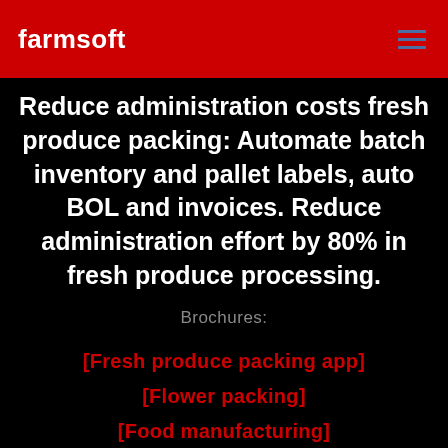farmsoft
Reduce administration costs fresh produce packing: Automate batch inventory and pallet labels, auto BOL and invoices. Reduce administration effort by 80% in fresh produce processing.
Brochures:
[Fresh produce packing app]
[Flower packing]
[Food manufacturing]
[Meat packing]